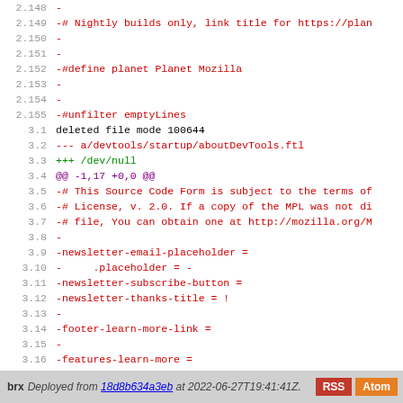Code diff view showing lines 2.148–3.21 with deleted/added lines in red/green/purple, followed by a footer bar
brx  Deployed from 18d8b634a3eb at 2022-06-27T19:41:41Z.  RSS  Atom